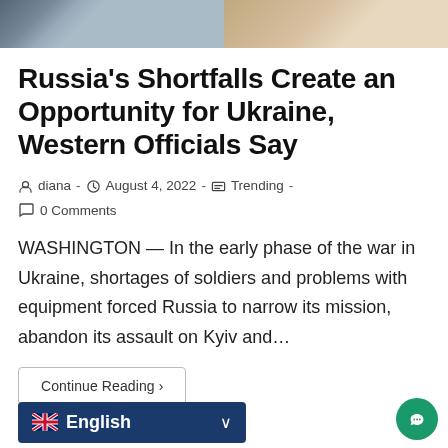[Figure (photo): Partial photo strip at top showing military/official figures in uniform]
Russia's Shortfalls Create an Opportunity for Ukraine, Western Officials Say
diana · August 4, 2022 · Trending · 0 Comments
WASHINGTON — In the early phase of the war in Ukraine, shortages of soldiers and problems with equipment forced Russia to narrow its mission, abandon its assault on Kyiv and...
Continue Reading ›
English